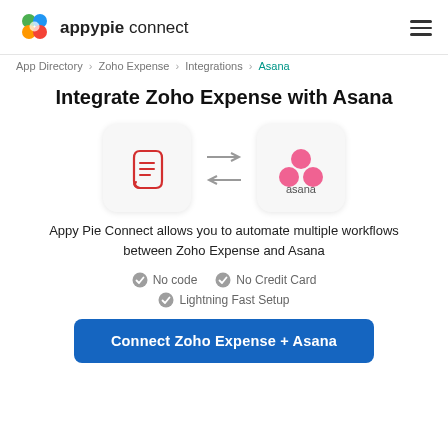appypie connect
App Directory > Zoho Expense > Integrations > Asana
Integrate Zoho Expense with Asana
[Figure (illustration): Zoho Expense icon and Asana icon with bidirectional arrows between them]
Appy Pie Connect allows you to automate multiple workflows between Zoho Expense and Asana
No code   No Credit Card   Lightning Fast Setup
Connect Zoho Expense + Asana